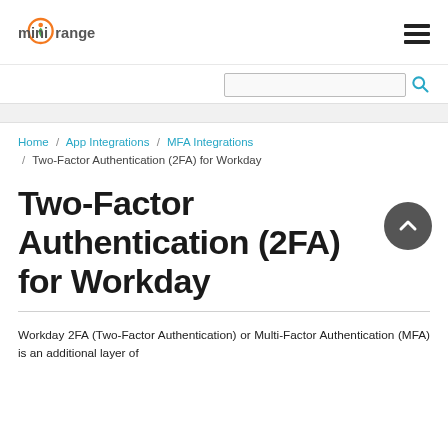[Figure (logo): miniOrange logo with orange circular icon and dark grey text]
Home / App Integrations / MFA Integrations / Two-Factor Authentication (2FA) for Workday
Two-Factor Authentication (2FA) for Workday
Workday 2FA (Two-Factor Authentication) or Multi-Factor Authentication (MFA) is an additional layer of